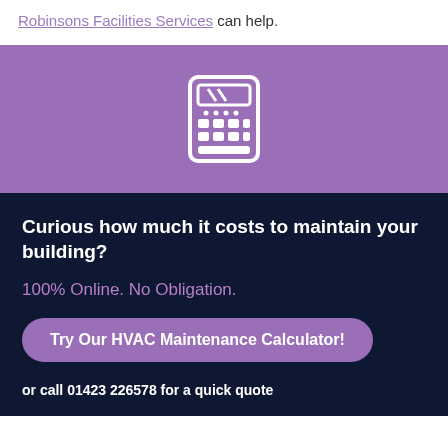Robinsons Facilities Services can help.
[Figure (illustration): White calculator icon on purple background]
Curious how much it costs to maintain your building?
100% Online. No Obligation.
Try Our HVAC Maintenance Calculator!
or call 01423 226578 for a quick quote